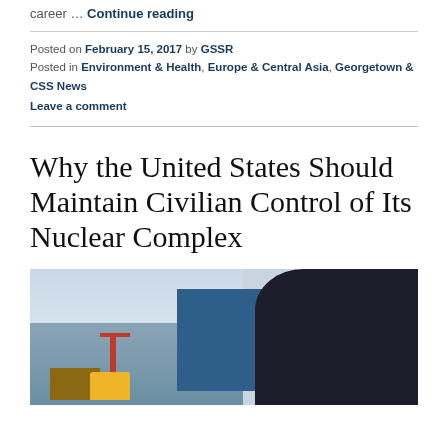career … Continue reading
Posted on February 15, 2017 by GSSR
Posted in Environment & Health, Europe & Central Asia, Georgetown & CSS News
Leave a comment
Why the United States Should Maintain Civilian Control of Its Nuclear Complex
[Figure (photo): A person in a dark hooded jacket viewed from behind, standing near a harbor with cranes, shipping containers in blue and yellow, and industrial equipment in a wintry scene.]